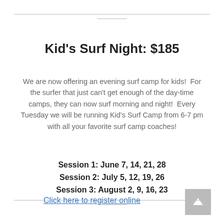Kid's Surf Night: $185
We are now offering an evening surf camp for kids!  For the surfer that just can't get enough of the day-time camps, they can now surf morning and night!  Every Tuesday we will be running Kid's Surf Camp from 6-7 pm with all your favorite surf camp coaches!
Session 1: June 7, 14, 21, 28
Session 2: July 5, 12, 19, 26
Session 3: August 2, 9, 16, 23
Click here to register online